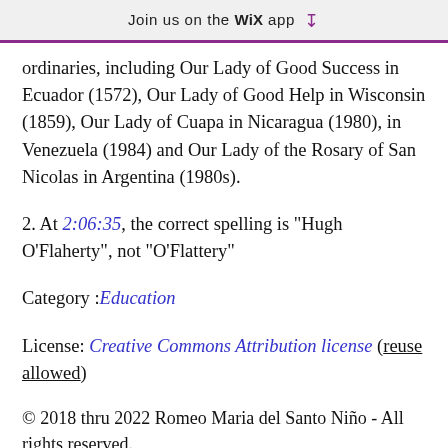Join us on the WiX app ⬇
ordinaries, including Our Lady of Good Success in Ecuador (1572), Our Lady of Good Help in Wisconsin (1859), Our Lady of Cuapa in Nicaragua (1980), in Venezuela (1984) and Our Lady of the Rosary of San Nicolas in Argentina (1980s).
2. At 2:06:35, the correct spelling is "Hugh O'Flaherty", not "O'Flattery"
Category :Education
License: Creative Commons Attribution license (reuse allowed)
© 2018 thru 2022 Romeo Maria del Santo Niño - All rights reserved.